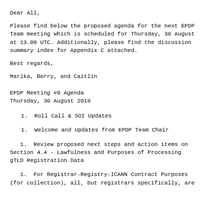Dear All,
Please find below the proposed agenda for the next EPDP Team meeting which is scheduled for Thursday, 30 August at 13.00 UTC. Additionally, please find the discussion summary index for Appendix C attached.
Best regards,
Marika, Berry, and Caitlin
EPDP Meeting #9 Agenda
Thursday, 30 August 2018
1.  Roll Call & SOI Updates
1.  Welcome and Updates from EPDP Team Chair
1.  Review proposed next steps and action items on Section 4.4 - Lawfulness and Purposes of Processing gTLD Registration Data
1.  For Registrar-Registry-ICANN Contract Purposes (for collection), all, but registrars specifically, are